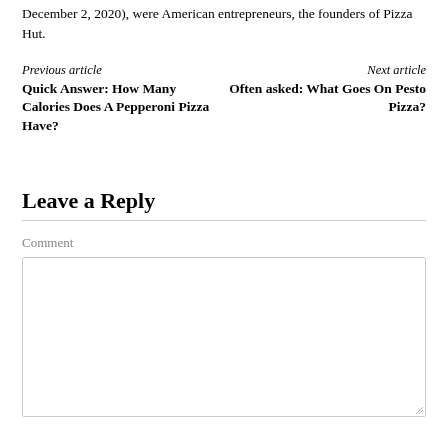December 2, 2020), were American entrepreneurs, the founders of Pizza Hut.
Previous article
Quick Answer: How Many Calories Does A Pepperoni Pizza Have?
Next article
Often asked: What Goes On Pesto Pizza?
Leave a Reply
Comment